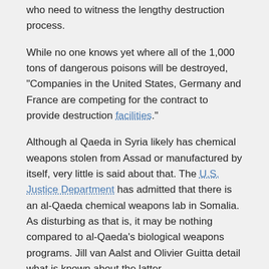who need to witness the lengthy destruction process.
While no one knows yet where all of the 1,000 tons of dangerous poisons will be destroyed, “Companies in the United States, Germany and France are competing for the contract to provide destruction facilities.”
Although al Qaeda in Syria likely has chemical weapons stolen from Assad or manufactured by itself, very little is said about that. The U.S. Justice Department has admitted that there is an al-Qaeda chemical weapons lab in Somalia. As disturbing as that is, it may be nothing compared to al-Qaeda's biological weapons programs. Jill van Aalst and Olivier Guitta detail what is known about the latter.
AL-QAEDA'S BIOLOGICAL WEAPONS PROGRAM
Dr Jill Bellamy van Aalst and Olivier Guitta